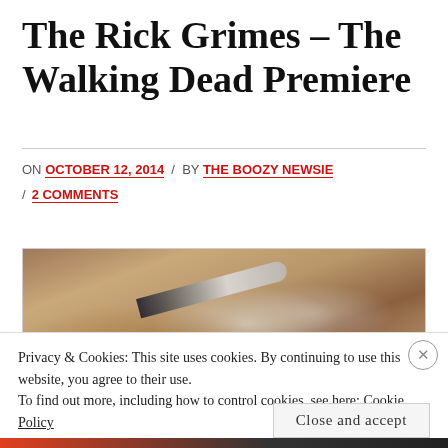The Rick Grimes – The Walking Dead Premiere
ON OCTOBER 12, 2014 / BY THE BOOZY NEWSIE / 2 COMMENTS
[Figure (photo): Overhead photo of survival items on autumn leaves: a knife, a jar of honey or whiskey, a tin of cream, a comb, and a small booklet or card, shot in warm vintage tones.]
Privacy & Cookies: This site uses cookies. By continuing to use this website, you agree to their use.
To find out more, including how to control cookies, see here: Cookie Policy
Close and accept